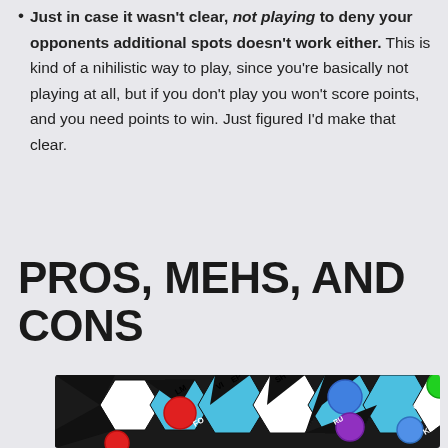Just in case it wasn't clear, not playing to deny your opponents additional spots doesn't work either. This is kind of a nihilistic way to play, since you're basically not playing at all, but if you don't play you won't score points, and you need points to win. Just figured I'd make that clear.
PROS, MEHS, AND CONS
[Figure (photo): A board game with black and white hexagonal tiles, colored game pieces (red, blue, purple, green) placed on blue hexagonal spaces, with abbreviation labels on each tile.]